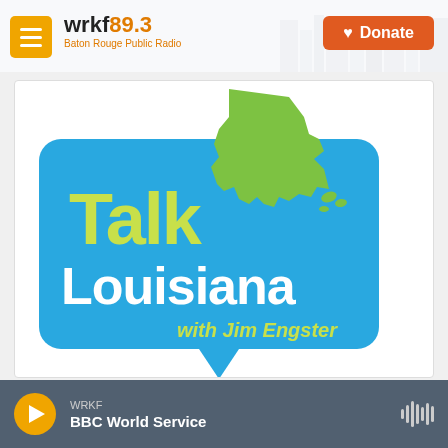wrkf89.3 Baton Rouge Public Radio | Donate
[Figure (logo): Talk Louisiana with Jim Engster logo — blue speech bubble with green Louisiana state silhouette, yellow-green 'Talk' text, white 'Louisiana' text, and yellow 'with Jim Engster' italic text]
WRKF | BBC World Service